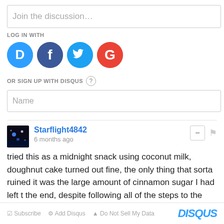Join the discussion…
LOG IN WITH
[Figure (infographic): Social login icons: Disqus (blue D), Facebook (dark blue f), Twitter (light blue bird), Google (red G)]
OR SIGN UP WITH DISQUS ?
Name
Starflight4842
6 months ago
tried this as a midnight snack using coconut milk, doughnut cake turned out fine, the only thing that sorta ruined it was the large amount of cinnamon sugar I had left t the end, despite following all of the steps to the letter, otherwise, delicious, would love to see more versions like chocolate, strawberry, apple etc now to figure out what to do with the egg whites.
∧ | ∨  Reply
☑ Subscribe  ⚙ Add Disqus  ▲ Do Not Sell My Data    DISQUS